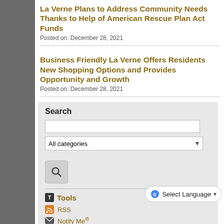La Verne Plans to Address Community Needs Thanks to Help of American Rescue Plan Act Funds
Posted on: December 28, 2021
Business Friendly La Verne Offers Residents New Shopping Options and Provides Opportunity and Growth
Posted on: December 28, 2021
Search
Tools
RSS
Notify Me®